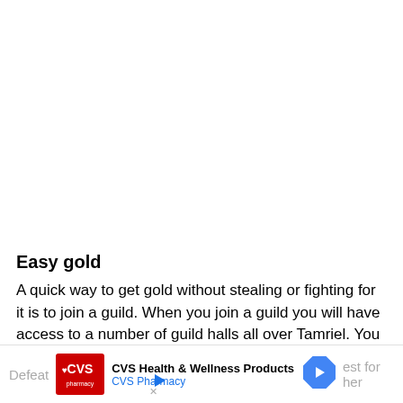Easy gold
A quick way to get gold without stealing or fighting for it is to join a guild. When you join a guild you will have access to a number of guild halls all over Tamriel. You can pick up nearly any item in the various guilds without making it a crime, and without labeling your items as stolen. By doing this you can just loot the guild halls and sell them to the closest merchant for an easy profit.
Defeat... est for the ma... her
[Figure (other): CVS Health & Wellness Products advertisement banner with CVS Pharmacy logo and navigation arrow icon]